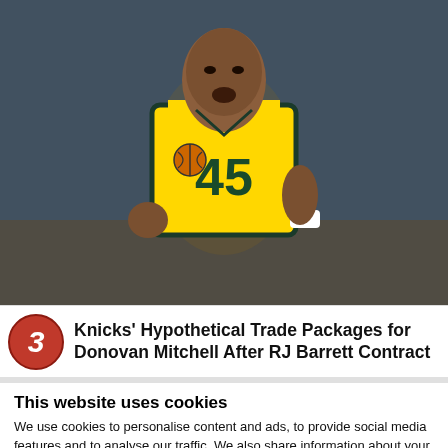[Figure (photo): Basketball player wearing Utah Jazz yellow jersey number 45, gesturing on court]
Knicks' Hypothetical Trade Packages for Donovan Mitchell After RJ Barrett Contract
This website uses cookies
We use cookies to personalise content and ads, to provide social media features and to analyse our traffic. We also share information about your use of our site with our social media, advertising and analytics partners who may combine it with other information that you've provided to them or that they've
[Figure (photo): Close-up of wrinkled skin, advertisement thumbnail]
Doctors Stunned: This Removes Wrinkles
n/a